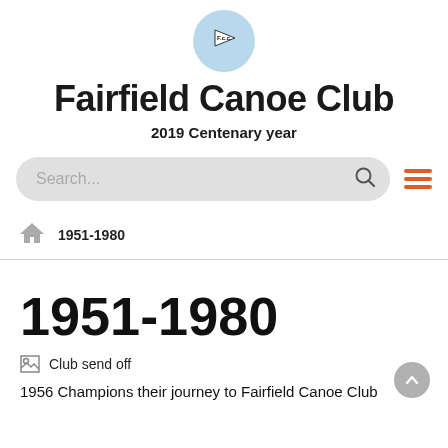[Figure (logo): Fairfield Canoe Club circular logo with light blue background and a pennant/flag with F.c.c. text]
Fairfield Canoe Club
2019 Centenary year
[Figure (screenshot): Search bar with placeholder text 'Search...' and a search icon, followed by a hamburger menu icon in orange]
1951-1980
1951-1980
[Figure (photo): Broken image placeholder labeled 'Club send off']
1956 Champions their journey to Fairfield Canoe Club